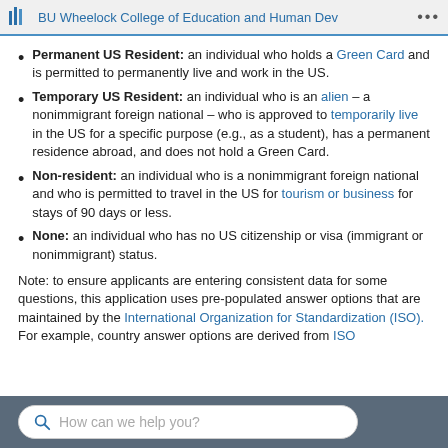BU Wheelock College of Education and Human Dev
Permanent US Resident: an individual who holds a Green Card and is permitted to permanently live and work in the US.
Temporary US Resident: an individual who is an alien – a nonimmigrant foreign national – who is approved to temporarily live in the US for a specific purpose (e.g., as a student), has a permanent residence abroad, and does not hold a Green Card.
Non-resident: an individual who is a nonimmigrant foreign national and who is permitted to travel in the US for tourism or business for stays of 90 days or less.
None: an individual who has no US citizenship or visa (immigrant or nonimmigrant) status.
Note: to ensure applicants are entering consistent data for some questions, this application uses pre-populated answer options that are maintained by the International Organization for Standardization (ISO). For example, country answer options are derived from ISO